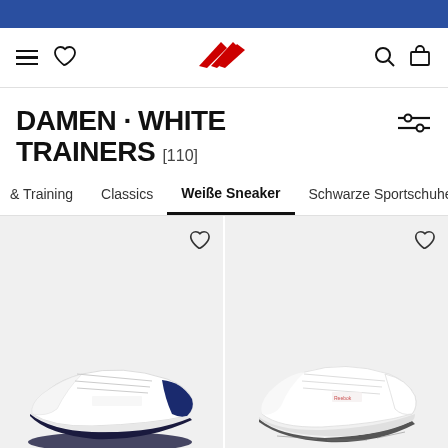Reebok website header with navigation: hamburger menu, heart/wishlist icon, Reebok logo, search icon, bag icon
DAMEN · WHITE TRAINERS [110]
& Training
Classics
Weiße Sneaker
Schwarze Sportschuhe
[Figure (photo): White Reebok Club C sneaker with navy accent, displayed on grey background]
[Figure (photo): White Reebok Classic leather sneaker displayed on grey background]